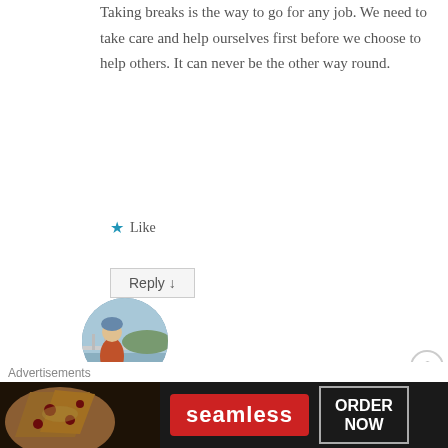Taking breaks is the way to go for any job. We need to take care and help ourselves first before we choose to help others. It can never be the other way round.
★ Like
Reply ↓
[Figure (photo): Circular avatar photo of a person wearing a helmet on a bridge]
Jean on 21 July 2014 at 12:09 AM said:
I just bike... and that's why it's part of my lifestyle. So...
Advertisements
[Figure (photo): Seamless food delivery advertisement banner with pizza image, Seamless logo and ORDER NOW button]